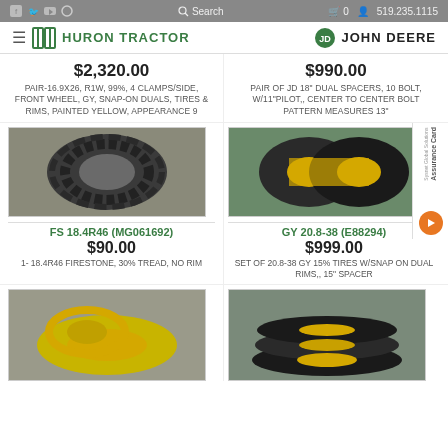Huron Tractor | John Deere | 519.235.1115
$2,320.00 PAIR-16.9x26, R1W, 99%, 4 CLAMPS/SIDE, FRONT WHEEL, GY, SNAP-ON DUALS, TIRES & RIMS, PAINTED YELLOW, APPEARANCE 9
$990.00 PAIR OF JD 18" DUAL SPACERS, 10 BOLT, W/11"PILOT,, CENTER TO CENTER BOLT PATTERN MEASURES 13"
[Figure (photo): Tractor tire on gravel]
[Figure (photo): Dual tractor tires on yellow rims]
FS 18.4R46 (MG061692)
GY 20.8-38 (E88294)
$90.00 1- 18.4R46 FIRESTONE, 30% TREAD, NO RIM
$999.00 SET OF 20.8-38 GY 15% TIRES W/SNAP ON DUAL RIMS,, 15" SPACER
[Figure (photo): Yellow tractor rim on gravel]
[Figure (photo): Set of tractor tires stacked]